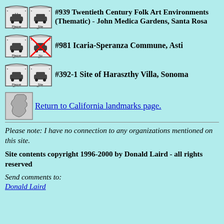#939 Twentieth Century Folk Art Environments (Thematic) - John Medica Gardens, Santa Rosa
#981 Icaria-Speranza Commune, Asti
#392-1 Site of Haraszthy Villa, Sonoma
Return to California landmarks page.
Please note: I have no connection to any organizations mentioned on this site.
Site contents copyright 1996-2000 by Donald Laird - all rights reserved
Send comments to: Donald Laird